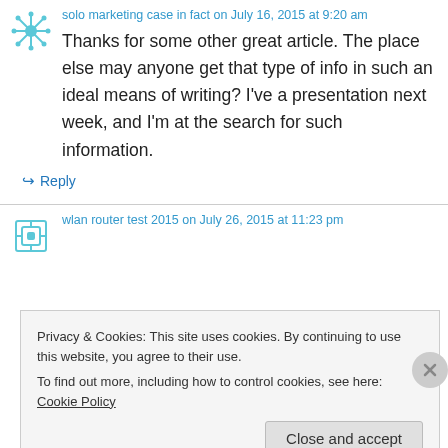solo marketing case in fact on July 16, 2015 at 9:20 am
Thanks for some other great article. The place else may anyone get that type of info in such an ideal means of writing? I've a presentation next week, and I'm at the search for such information.
Reply
wlan router test 2015 on July 26, 2015 at 11:23 pm
Privacy & Cookies: This site uses cookies. By continuing to use this website, you agree to their use. To find out more, including how to control cookies, see here: Cookie Policy
Close and accept